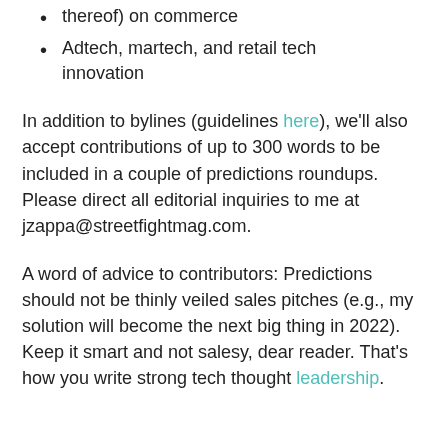thereof) on commerce
Adtech, martech, and retail tech innovation
In addition to bylines (guidelines here), we'll also accept contributions of up to 300 words to be included in a couple of predictions roundups. Please direct all editorial inquiries to me at jzappa@streetfightmag.com.
A word of advice to contributors: Predictions should not be thinly veiled sales pitches (e.g., my solution will become the next big thing in 2022). Keep it smart and not salesy, dear reader. That's how you write strong tech thought leadership.